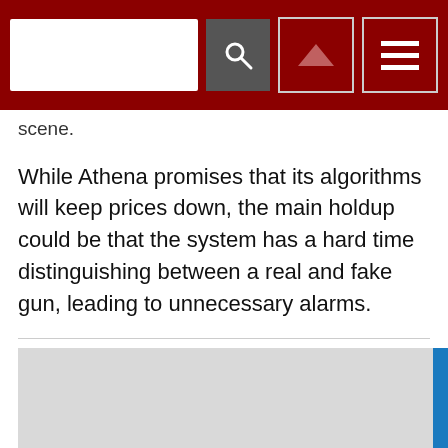[Figure (screenshot): Dark red navigation header bar with a white search input box, a dark search button with magnifying glass icon, an up-arrow navigation button, and a hamburger menu button]
scene.
While Athena promises that its algorithms will keep prices down, the main holdup could be that the system has a hard time distinguishing between a real and fake gun, leading to unnecessary alarms.
About the Author
Sydny Shepard is the Executive Editor of Campus Security & Life Safety.
[Figure (other): Light gray advertisement placeholder box]